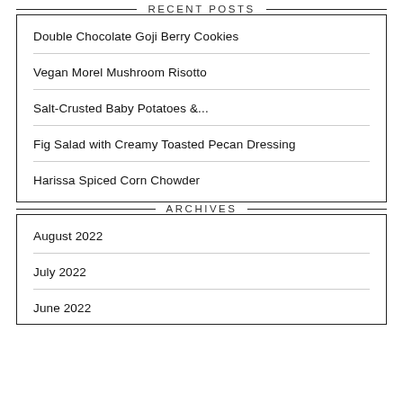RECENT POSTS
Double Chocolate Goji Berry Cookies
Vegan Morel Mushroom Risotto
Salt-Crusted Baby Potatoes &...
Fig Salad with Creamy Toasted Pecan Dressing
Harissa Spiced Corn Chowder
ARCHIVES
August 2022
July 2022
June 2022